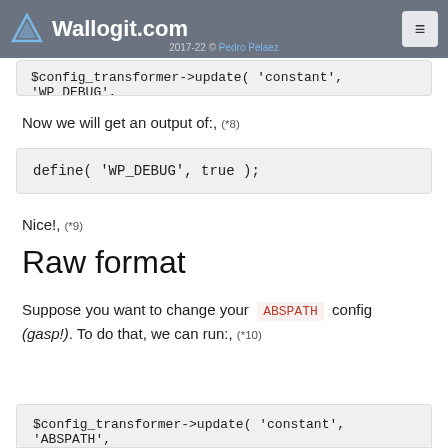Wallogit.com — 2017-22 © Pedro Pelaez
$config_transformer->update( 'constant', 'WP_DEBUG',
Now we will get an output of:, (*8)
define( 'WP_DEBUG', true );
Nice!, (*9)
Raw format
Suppose you want to change your ABSPATH config (gasp!). To do that, we can run:, (*10)
$config_transformer->update( 'constant', 'ABSPATH',